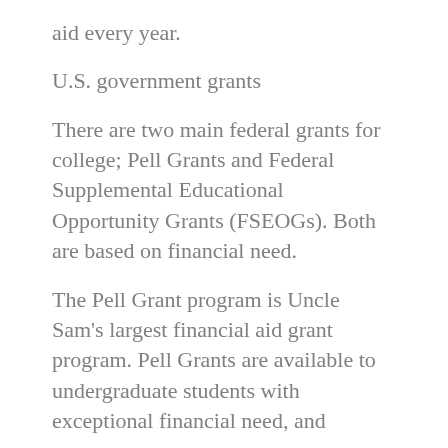aid every year.
U.S. government grants
There are two main federal grants for college; Pell Grants and Federal Supplemental Educational Opportunity Grants (FSEOGs). Both are based on financial need.
The Pell Grant program is Uncle Sam's largest financial aid grant program. Pell Grants are available to undergraduate students with exceptional financial need, and